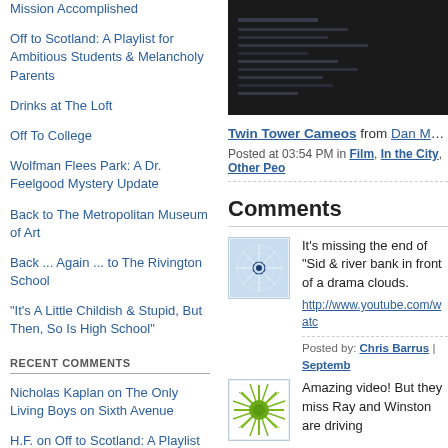Mission Accomplished
Off to Scotland: A Playlist for Ambitious Students & Melancholy Parents
Drinks at The Loft
Off To College
Wolfman Flees Park: A Dr. Feelgood Mystery Update
Back to The Metropolitan Museum of Art
Back ... Again ... to The Rivington School
"It's A Little Childish & Stupid, But Then, So Is High School"
RECENT COMMENTS
Nicholas Kaplan on The Only Living Boys on Sixth Avenue
H.F. on Off to Scotland: A Playlist for Ambitious Students & Melancholy Parents
Alex in NYC on Off to Scotland: A Playlist for Ambitious Students &
[Figure (screenshot): Dark video embed thumbnail showing text/code on dark background]
Twin Tower Cameos from Dan Meth on V
Posted at 03:54 PM in Film, In the City, Other Peo
Comments
[Figure (illustration): User avatar with circular geometric white pattern on light blue background]
It's missing the end of "Sid & river bank in front of a drama clouds.
http://www.youtube.com/watc
Posted by: Chris Barrus | Septemb
[Figure (illustration): User avatar with green sunburst/radial pattern and green circle center on white background]
Amazing video! But they miss Ray and Winston are driving